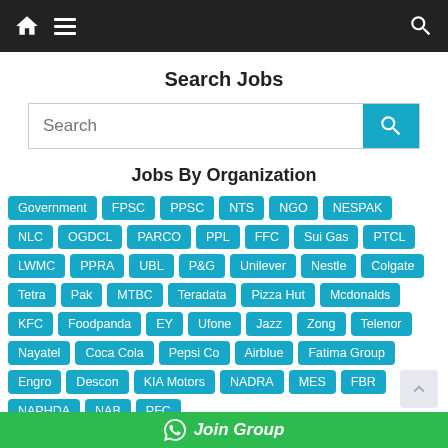Navigation bar with home, hamburger menu, and search icons
Search Jobs
[Figure (screenshot): Search input box with teal search button]
Jobs By Organization
Government
FPSC
PPSC
NTS
NGO
NESPAK
NLC
OGDCL
PARCO
PPL
FFC
Sui Gas
PTCL
LWMC
PPRA
UBL
P&G
Unilever
Nestle
Colgate
Tetra Pak
MTBC
Teradata
Pizza Hut
Mcdonalds
KFC
Foodpanda
EY
Ufone
Jazz
Zong
Telenor
Nayatel
Coca Cola
Pepsi Co
Airblue
Fatima Group
Engro
Descon
KIA Motors
NADRA
MES
FBR
NAPHDA
NAB
PFC